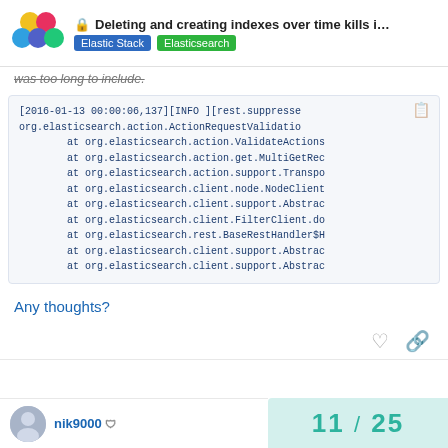Deleting and creating indexes over time kills i... | Elastic Stack | Elasticsearch
was too long to include.
[2016-01-13 00:00:06,137][INFO ][rest.suppressed]
org.elasticsearch.action.ActionRequestValidatio
    at org.elasticsearch.action.ValidateActions
    at org.elasticsearch.action.get.MultiGetRec
    at org.elasticsearch.action.support.Transpo
    at org.elasticsearch.client.node.NodeClient
    at org.elasticsearch.client.support.Abstrac
    at org.elasticsearch.client.FilterClient.do
    at org.elasticsearch.rest.BaseRestHandler$H
    at org.elasticsearch.client.support.Abstrac
    at org.elasticsearch.client.support.Abstrac
Any thoughts?
11 / 25
nik9000